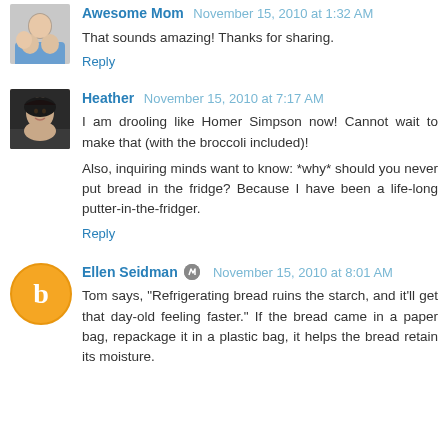Awesome Mom November 15, 2010 at 1:32 AM
That sounds amazing! Thanks for sharing.
Reply
Heather November 15, 2010 at 7:17 AM
I am drooling like Homer Simpson now! Cannot wait to make that (with the broccoli included)!
Also, inquiring minds want to know: *why* should you never put bread in the fridge? Because I have been a life-long putter-in-the-fridger.
Reply
Ellen Seidman November 15, 2010 at 8:01 AM
Tom says, "Refrigerating bread ruins the starch, and it'll get that day-old feeling faster." If the bread came in a paper bag, repackage it in a plastic bag, it helps the bread retain its moisture.